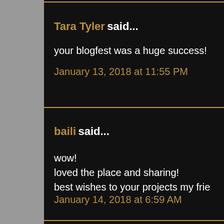Tara Tyler said...
your blogfest was a huge success!
January 13, 2018 at 11:55 PM
baili said...
wow!
loved the place and sharing!
best wishes to your projects my frie
January 14, 2018 at 6:59 AM